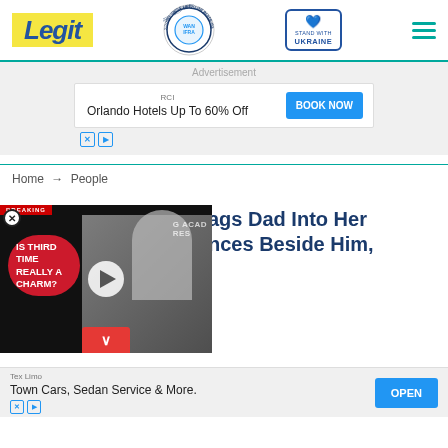Legit | WAN IFRA 2021 Best News Website In Africa | Stand With Ukraine
[Figure (screenshot): Advertisement banner: RCI Orlando Hotels Up To 60% Off with BOOK NOW button]
Home → People
[Figure (screenshot): Video overlay with text IS THIRD TIME REALLY A CHARM? with play button, showing two people at a Grammy backdrop]
ags Dad Into Her nces Beside Him,
[Figure (screenshot): Advertisement banner: Tex Limo Town Cars, Sedan Service & More. with OPEN button]